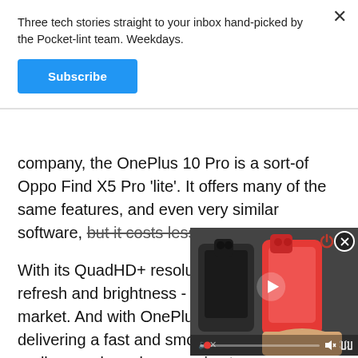Three tech stories straight to your inbox hand-picked by the Pocket-lint team. Weekdays.
Subscribe
company, the OnePlus 10 Pro is a sort-of Oppo Find X5 Pro 'lite'. It offers many of the same features, and even very similar software, but it costs less.
With its QuadHD+ resolution, 120Hz adaptive refresh and brightness - it has one of the market. And with OnePlus' focus on delivering a fast and smooth experience, it's really speedy and responsive too.
[Figure (screenshot): Video player thumbnail showing two smartphones - one dark/black and one red/orange - being held by a hand. The video overlay has a play button, progress bar with red dot indicator, mute/volume icon, fullscreen icon, and a power icon in the top right corner. A close (X) button appears at top right of the video frame.]